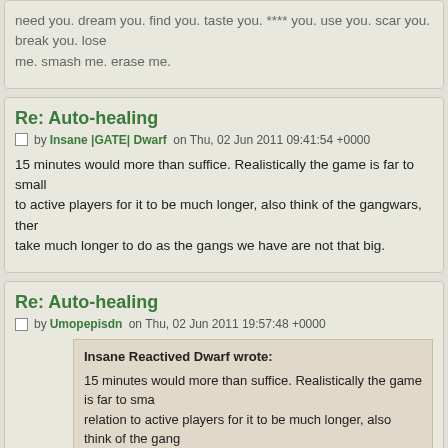need you. dream you. find you. taste you. **** you. use you. scar you. break you. lose me. smash me. erase me.
Re: Auto-healing
by Insane |GATE| Dwarf on Thu, 02 Jun 2011 09:41:54 +0000
15 minutes would more than suffice. Realistically the game is far to small to active players for it to be much longer, also think of the gangwars, ther take much longer to do as the gangs we have are not that big.
Re: Auto-healing
by Umopepisdn on Thu, 02 Jun 2011 19:57:48 +0000
Insane Reactived Dwarf wrote: 15 minutes would more than suffice. Realistically the game is far to sma relation to active players for it to be much longer, also think of the gang there going to take much longer to do as the gangs we have are not tha
What if the game stopped being as small?
Re: Auto-healing